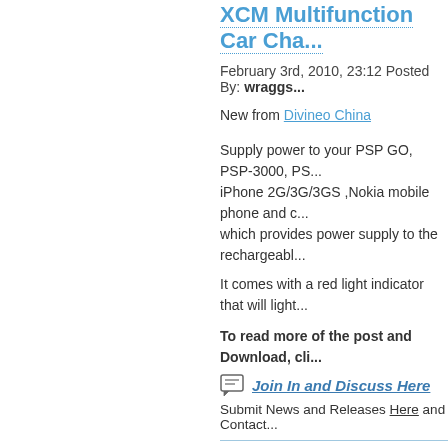XCM Multifunction Car Cha...
February 3rd, 2010, 23:12 Posted By: wraggs...
New from Divineo China
Supply power to your PSP GO, PSP-3000, PS... iPhone 2G/3G/3GS ,Nokia mobile phone and c... which provides power supply to the rechargeabl...
It comes with a red light indicator that will light...
To read more of the post and Download, cli...
Join In and Discuss Here
Submit News and Releases Here and Contact...
OpenBOR v3.0 Build 2658...
February 4th, 2010, 00:26 Posted By: wraggs...
The lavalit team have released a new version o...
Heres whats new:
Log message:
Fixed infinite recursion when displaying credits...